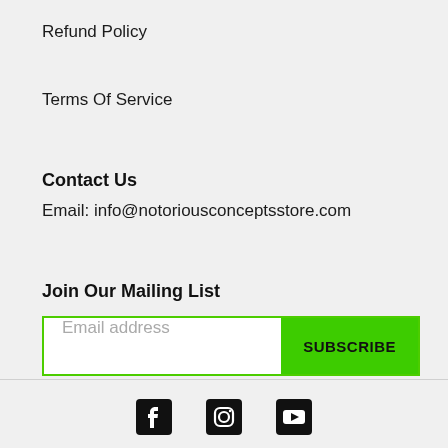Refund Policy
Terms Of Service
Contact Us
Email: info@notoriousconceptsstore.com
Join Our Mailing List
Email address  SUBSCRIBE
Social media icons: Facebook, Instagram, YouTube